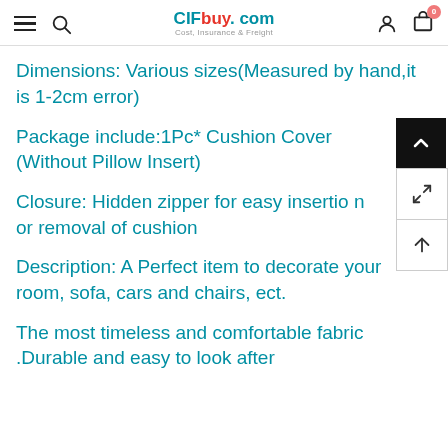CIFbuy.com - Cost, Insurance & Freight
Dimensions: Various sizes(Measured by hand,it is 1-2cm error)
Package include:1Pc* Cushion Cover (Without Pillow Insert)
Closure: Hidden zipper for easy insertion or removal of cushion
Description: A Perfect item to decorate your room, sofa, cars and chairs, ect.
The most timeless and comfortable fabric .Durable and easy to look after